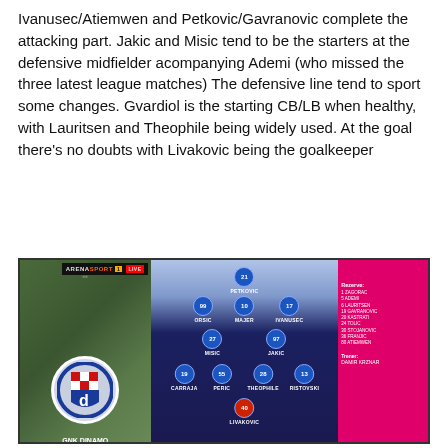Ivanusec/Atiemwen and Petkovic/Gavranovic complete the attacking part. Jakic and Misic tend to be the starters at the defensive midfielder acompanying Ademi (who missed the three latest league matches) The defensive line tend to sport some changes. Gvardiol is the starting CB/LB when healthy, with Lauritsen and Theophile being widely used. At the goal there's no doubts with Livakovic being the goalkeeper
[Figure (screenshot): Arena Sport broadcast screenshot showing GNK Dinamo Zagreb football team formation/lineup. Formation displayed on dark blue tactical board showing players numbered: 21 Petkovic, 99 Orsic, 17 Ivanusec, 10 Majer, 27 Misic, 97 Jakic, 19 Carraja, 55 Peric, 28 Theophile, 13 Ristovski, 40 Livakovic (GK). Reserves listed on pink right panel. Trainer: Damir Krznar.]